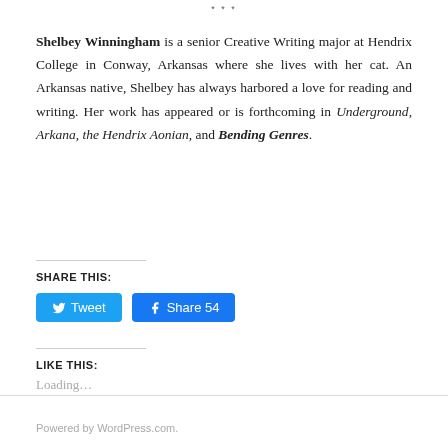* * *
Shelbey Winningham is a senior Creative Writing major at Hendrix College in Conway, Arkansas where she lives with her cat. An Arkansas native, Shelbey has always harbored a love for reading and writing. Her work has appeared or is forthcoming in Underground, Arkana, the Hendrix Aonian, and Bending Genres.
SHARE THIS:
[Figure (other): Tweet button and Facebook Share 54 button]
LIKE THIS:
Loading...
Powered by WordPress.com.